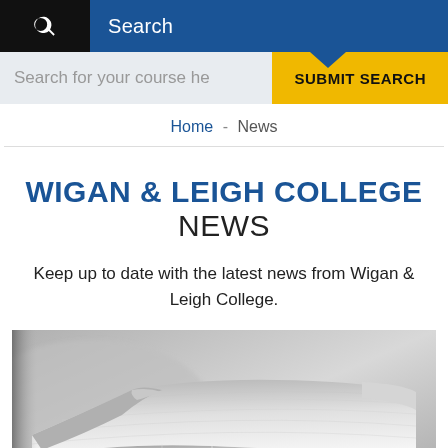Search
Search for your course here  SUBMIT SEARCH
Home - News
WIGAN & LEIGH COLLEGE NEWS
Keep up to date with the latest news from Wigan & Leigh College.
[Figure (photo): Black and white close-up photo of stacked folded newspapers]